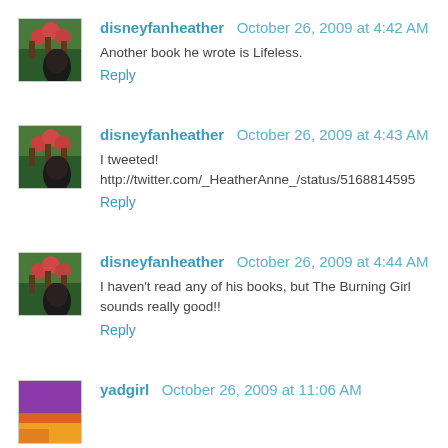disneyfanheather October 26, 2009 at 4:42 AM
Another book he wrote is Lifeless.
Reply
disneyfanheather October 26, 2009 at 4:43 AM
I tweeted!
http://twitter.com/_HeatherAnne_/status/5168814595
Reply
disneyfanheather October 26, 2009 at 4:44 AM
I haven't read any of his books, but The Burning Girl sounds really good!!
Reply
yadgirl October 26, 2009 at 11:06 AM